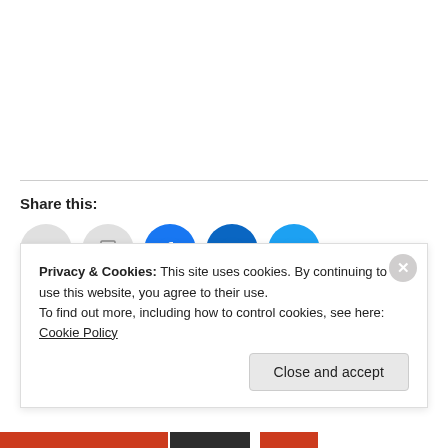Share this:
[Figure (other): Social sharing buttons: email, print, Facebook, LinkedIn, Twitter]
Privacy & Cookies: This site uses cookies. By continuing to use this website, you agree to their use. To find out more, including how to control cookies, see here: Cookie Policy
Close and accept